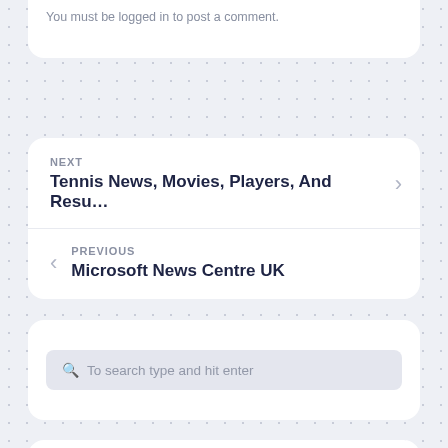You must be logged in to post a comment.
NEXT
Tennis News, Movies, Players, And Resu…
PREVIOUS
Microsoft News Centre UK
To search type and hit enter
Recent Posts